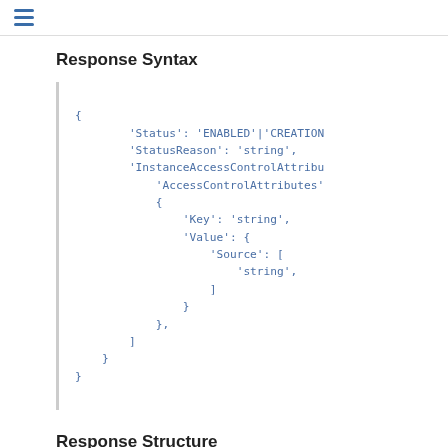≡
Response Syntax
{
        'Status': 'ENABLED'|'CREATION
        'StatusReason': 'string',
        'InstanceAccessControlAttribu
            'AccessControlAttributes'
            {
                'Key': 'string',
                'Value': {
                    'Source': [
                        'string',
                    ]
                }
            },
        ]
    }
}
Response Structure